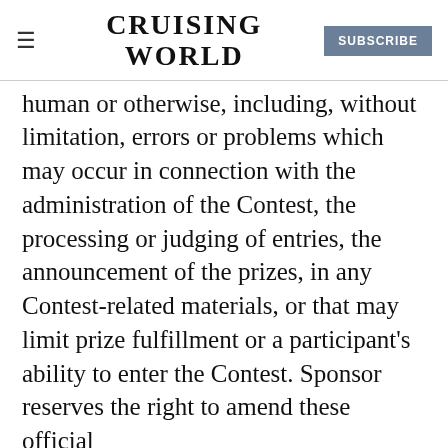CRUISING WORLD | SUBSCRIBE
human or otherwise, including, without limitation, errors or problems which may occur in connection with the administration of the Contest, the processing or judging of entries, the announcement of the prizes, in any Contest-related materials, or that may limit prize fulfillment or a participant's ability to enter the Contest. Sponsor reserves the right to amend these official rules and to disqualify permanently from the Contest any person it believes has